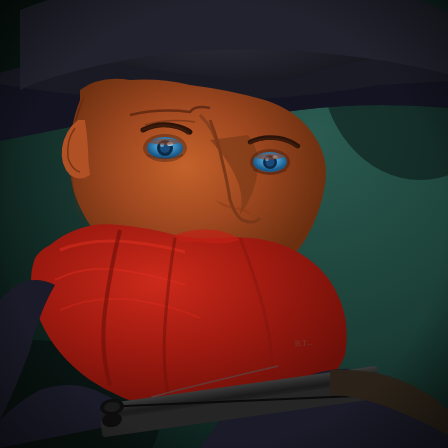[Figure (illustration): A dramatic painted illustration of a menacing man wearing a dark wide-brimmed hat pulled low, with intense blue eyes staring forward. The lower half of his face is covered by a red bandana/neckerchief. He is wearing a dark coat and holds a double-barreled shotgun or rifle pointed toward the viewer. The background is dark teal/green. The overall style is a pulp fiction or Western comic book cover painting, rendered in a realistic painterly style. The figure has exaggerated, angular features and a threatening expression.]